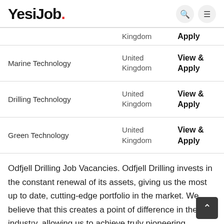YesiJob.
| Job | Location | Action |
| --- | --- | --- |
|  | Kingdom | Apply |
| Marine Technology | United Kingdom | View & Apply |
| Drilling Technology | United Kingdom | View & Apply |
| Green Technology | United Kingdom | View & Apply |
Odfjell Drilling Job Vacancies. Odfjell Drilling invests in the constant renewal of its assets, giving us the most up to date, cutting-edge portfolio in the market. We believe that this creates a point of difference in the industry, allowing us to achieve truly pioneering standards for our